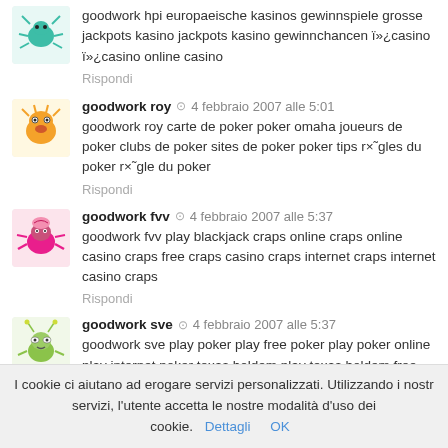goodwork hpi europaeische kasinos gewinnspiele grosse jackpots kasino jackpots kasino gewinnchancen ï»¿casino ï»¿casino online casino
Rispondi
goodwork roy · 4 febbraio 2007 alle 5:01
goodwork roy carte de poker poker omaha joueurs de poker clubs de poker sites de poker poker tips r×˜gles du poker r×˜gle du poker
Rispondi
goodwork fvv · 4 febbraio 2007 alle 5:37
goodwork fvv play blackjack craps online craps online casino craps free craps casino craps internet craps internet casino craps
Rispondi
goodwork sve · 4 febbraio 2007 alle 5:37
goodwork sve play poker play free poker play poker online play internet poker texas holdem play texas holdem free texas holdem free
I cookie ci aiutano ad erogare servizi personalizzati. Utilizzando i nostri servizi, l'utente accetta le nostre modalità d'uso dei cookie. Dettagli OK